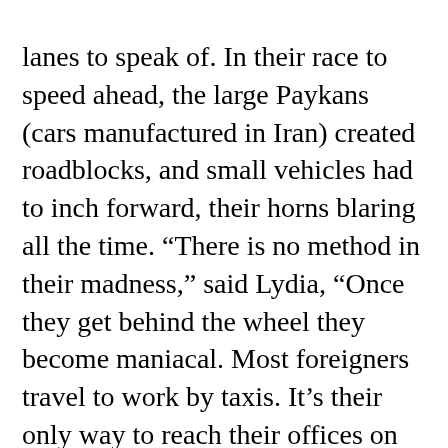lanes to speak of. In their race to speed ahead, the large Paykans (cars manufactured in Iran) created roadblocks, and small vehicles had to inch forward, their horns blaring all the time. “There is no method in their madness,” said Lydia, “Once they get behind the wheel they become maniacal. Most foreigners travel to work by taxis. It’s their only way to reach their offices on time.”
The week in Tehran had sped by so fast. Now I was to make my trip through the mountains. Early next morning, Lydia and I made our way to Auto Hamadan, the office from where we had to catch a bus. The bus was already packed with tall burly men in